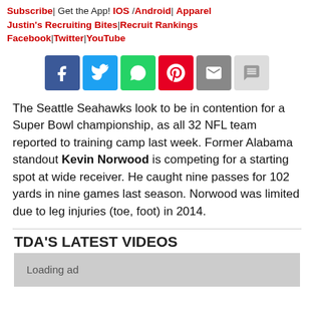Subscribe| Get the App! IOS /Android| Apparel Justin's Recruiting Bites|Recruit Rankings Facebook|Twitter|YouTube
[Figure (infographic): Social sharing buttons: Facebook (blue), Twitter (light blue), WhatsApp (green), Pinterest (red), Email (grey), Comment (light grey)]
The Seattle Seahawks look to be in contention for a Super Bowl championship, as all 32 NFL team reported to training camp last week. Former Alabama standout Kevin Norwood is competing for a starting spot at wide receiver. He caught nine passes for 102 yards in nine games last season. Norwood was limited due to leg injuries (toe, foot) in 2014.
TDA'S LATEST VIDEOS
Loading ad